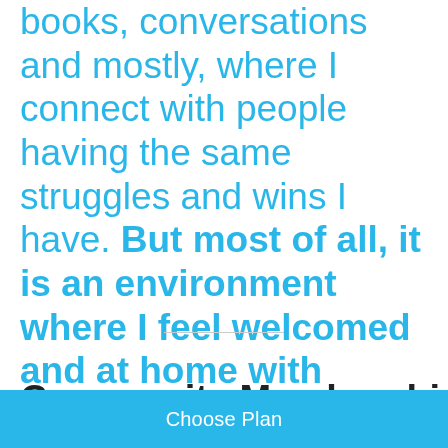books, conversations and mostly, where I connect with people having the same struggles and wins I have. But most of all, it is an environment where I feel welcomed and at home with peers.
Community Membership
Choose Plan